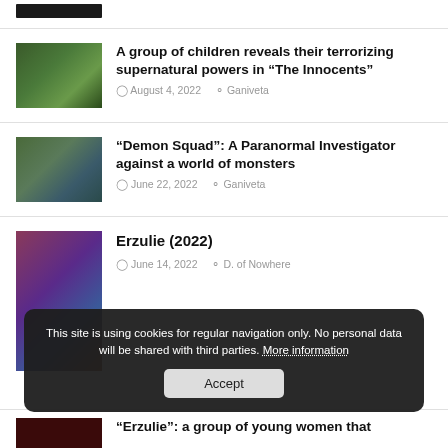[Figure (photo): Small dark thumbnail image at top]
[Figure (photo): Movie still showing a child in a forest, from The Innocents]
A group of children reveals their terrorizing supernatural powers in “The Innocents”
August 4, 2022   Ganiveta
[Figure (photo): Movie still showing people outdoors, Demon Squad]
“Demon Squad”: A Paranormal Investigator against a world of monsters
June 22, 2022   Ganiveta
[Figure (photo): Movie poster for Erzulie (2022), colorful with group of people]
Erzulie (2022)
June 14, 2022   D. of Nowhere
This site is using cookies for regular navigation only. No personal data will be shared with third parties. More information
Accept
[Figure (photo): Dark red thumbnail at bottom]
“Erzulie”: a group of young women that